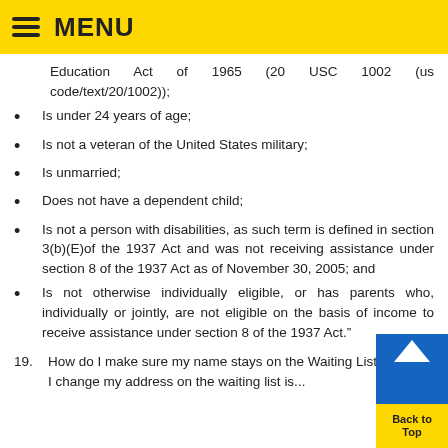MENU
Education Act of 1965 (20 USC 1002 (us code/text/20/1002));
Is under 24 years of age;
Is not a veteran of the United States military;
Is unmarried;
Does not have a dependent child;
Is not a person with disabilities, as such term is defined in section 3(b)(E)of the 1937 Act and was not receiving assistance under section 8 of the 1937 Act as of November 30, 2005; and
Is not otherwise individually eligible, or has parents who, individually or jointly, are not eligible on the basis of income to receive assistance under section 8 of the 1937 Act.”
19. How do I make sure my name stays on the Waiting List? How do I change my address on the waiting list is...